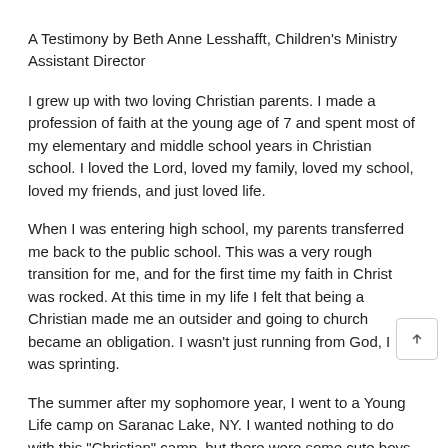A Testimony by Beth Anne Lesshafft, Children's Ministry Assistant Director
I grew up with two loving Christian parents. I made a profession of faith at the young age of 7 and spent most of my elementary and middle school years in Christian school. I loved the Lord, loved my family, loved my school, loved my friends, and just loved life.
When I was entering high school, my parents transferred me back to the public school. This was a very rough transition for me, and for the first time my faith in Christ was rocked. At this time in my life I felt that being a Christian made me an outsider and going to church became an obligation. I wasn't just running from God, I was sprinting.
The summer after my sophomore year, I went to a Young Life camp on Saranac Lake, NY. I wanted nothing to do with this "Christian" camp, but there were some cute boys going.